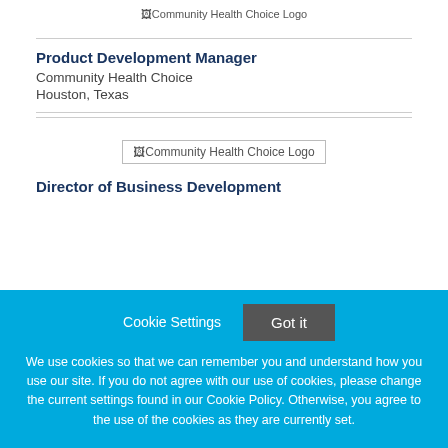[Figure (logo): Community Health Choice Logo (cropped at top)]
Product Development Manager
Community Health Choice
Houston, Texas
[Figure (logo): Community Health Choice Logo]
Director of Business Development
Cookie Settings
Got it
We use cookies so that we can remember you and understand how you use our site. If you do not agree with our use of cookies, please change the current settings found in our Cookie Policy. Otherwise, you agree to the use of the cookies as they are currently set.